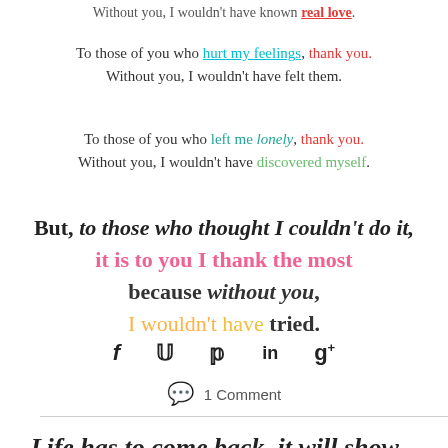Without you, I wouldn't have known real love.
To those of you who hurt my feelings, thank you. Without you, I wouldn't have felt them.
To those of you who left me lonely, thank you. Without you, I wouldn't have discovered myself.
But, to those who thought I couldn't do it, it is to you I thank the most because without you, I wouldn't have tried.
[Figure (infographic): Social media share icons: Facebook (f), Twitter (bird), Pinterest (p), LinkedIn (in), Google+ (g+)]
1 Comment
Life has to come back, it will show...